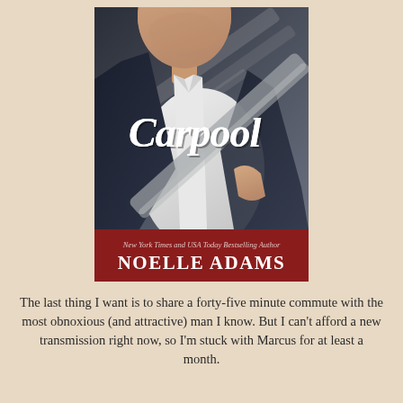[Figure (illustration): Book cover for 'Carpool' by Noelle Adams. Shows a man in a dark blazer and white shirt leaning against a car, face partially cropped. Script title 'Carpool' in white over the image. Red banner at bottom reads 'New York Times and USA Today Bestselling Author NOELLE ADAMS'.]
The last thing I want is to share a forty-five minute commute with the most obnoxious (and attractive) man I know. But I can't afford a new transmission right now, so I'm stuck with Marcus for at least a month.